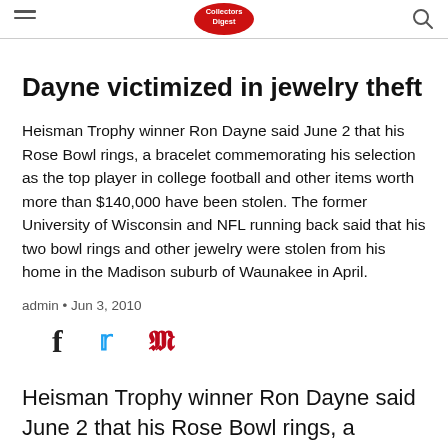Collectors Digest
Dayne victimized in jewelry theft
Heisman Trophy winner Ron Dayne said June 2 that his Rose Bowl rings, a bracelet commemorating his selection as the top player in college football and other items worth more than $140,000 have been stolen. The former University of Wisconsin and NFL running back said that his two bowl rings and other jewelry were stolen from his home in the Madison suburb of Waunakee in April.
admin • Jun 3, 2010
[Figure (other): Social share icons: Facebook, Twitter, Pinterest]
Heisman Trophy winner Ron Dayne said June 2 that his Rose Bowl rings, a bracelet commemorating...